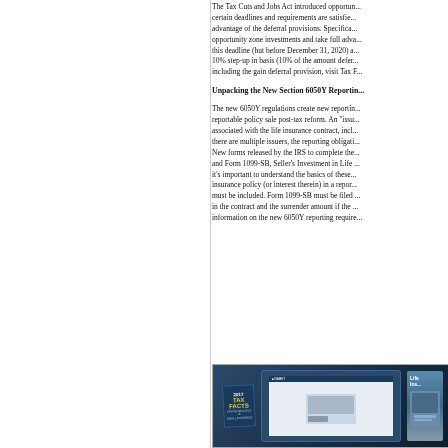The Tax Cuts and Jobs Act introduced opportunity zone investments where, if certain deadlines and requirements are satisfied, taxpayers may take full advantage of the deferral provisions. Specifically, investors who make opportunity zone investments and take full advantage must invest before this deadline (but before December 31, 2020) and take advantage of a 10% step-up in basis (10% of the amount deferred). For more information including the gain deferral provision, visit Tax F...
Unpacking the New Section 6050Y Reporting...
The new 6050Y regulations create new reporting obligations for each reportable policy sale post-tax reform. An "issuer" means each person associated with the life insurance contract, including... there are multiple issuers, the reporting obligations... New forms released by the IRS to complete the... and Form 1099-SB, Seller's Investment in Life... it's important to understand the basics of these... insurance policy (or interest therein) in a report... must be included. Form 1099-SB must be filed... in the contract and the surrender amount if the... information on the new 6050Y reporting require...
[Figure (photo): Promotional image showing Tax Facts 2017 book and digital products including a tablet and a Life Insurance related publication against a dark blue background]